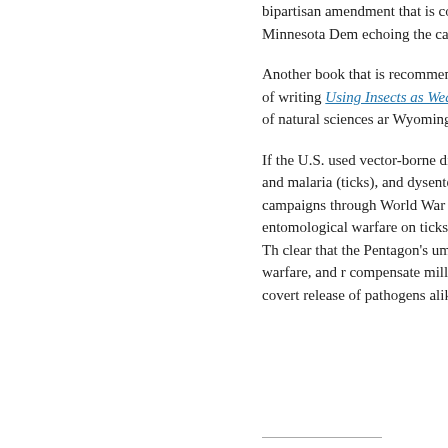bipartisan amendment that is co Andy Harris and Minnesota Dem echoing the calls for an investig
Another book that is recommen was used in excerpts of writing Using Insects as Weapons of W professor of natural sciences ar Wyoming.
If the U.S. used vector-borne di fleas), yellow fever and malaria (ticks), and dysentery (flies) in c campaigns through World War I of those entomological warfare on ticks with Lyme disease? Th clear that the Pentagon's umbre on entomological warfare, and r compensate millions of America the covert release of pathogens alike.